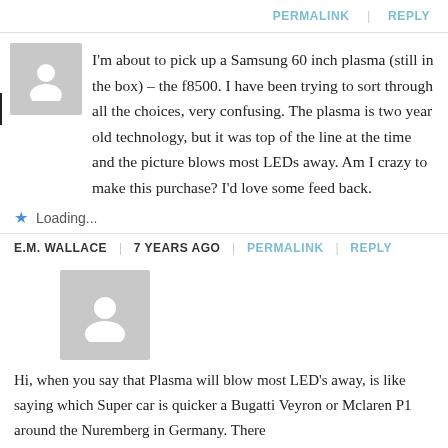PERMALINK | REPLY
I'm about to pick up a Samsung 60 inch plasma (still in the box) – the f8500. I have been trying to sort through all the choices, very confusing. The plasma is two year old technology, but it was top of the line at the time and the picture blows most LEDs away. Am I crazy to make this purchase? I'd love some feed back.
★ Loading...
E.M. WALLACE | 7 YEARS AGO | PERMALINK | REPLY
Hi, when you say that Plasma will blow most LED's away, is like saying which Super car is quicker a Bugatti Veyron or Mclaren P1 around the Nuremberg in Germany. There